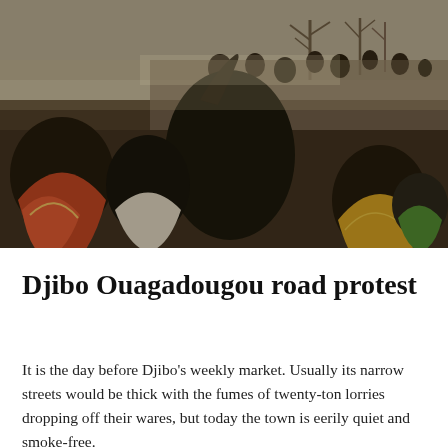[Figure (photo): A crowd of people gathered outdoors in a dusty, arid landscape with sparse dry trees in the background. The foreground shows people in colorful clothing, some with raised arms. The scene appears to be a protest or gathering on a road in Djibo, Burkina Faso.]
Djibo Ouagadougou road protest
It is the day before Djibo's weekly market. Usually its narrow streets would be thick with the fumes of twenty-ton lorries dropping off their wares, but today the town is eerily quiet and smoke-free.